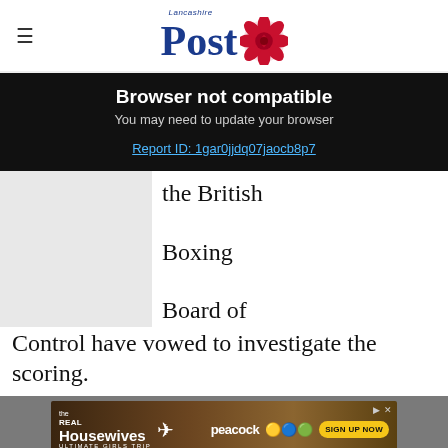Lancashire Post
Browser not compatible
You may need to update your browser
Report ID: 1gar0jjdq07jaocb8p7
the British Boxing Board of Control have vowed to investigate the scoring.
[Figure (other): Advertisement for The Real Housewives Ultimate Girls Trip on Peacock - Sign Up Now]
50% off annual subscriptions
Subscribe today